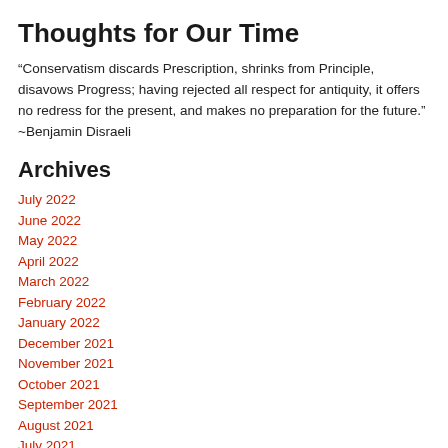Thoughts for Our Time
“Conservatism discards Prescription, shrinks from Principle, disavows Progress; having rejected all respect for antiquity, it offers no redress for the present, and makes no preparation for the future.” ~Benjamin Disraeli
Archives
July 2022
June 2022
May 2022
April 2022
March 2022
February 2022
January 2022
December 2021
November 2021
October 2021
September 2021
August 2021
July 2021
June 2021